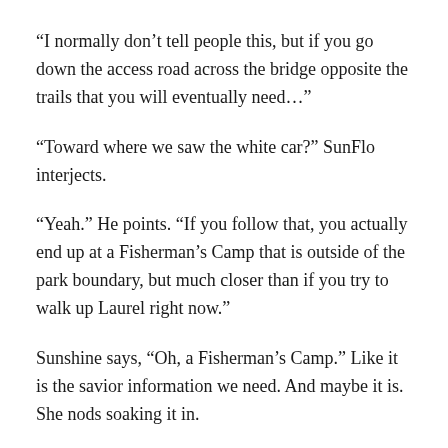“I normally don’t tell people this, but if you go down the access road across the bridge opposite the trails that you will eventually need…”
“Toward where we saw the white car?” SunFlo interjects.
“Yeah.” He points. “If you follow that, you actually end up at a Fisherman’s Camp that is outside of the park boundary, but much closer than if you try to walk up Laurel right now.”
Sunshine says, “Oh, a Fisherman’s Camp.” Like it is the savior information we need. And maybe it is. She nods soaking it in.
Now I have another visual for where we will lay our